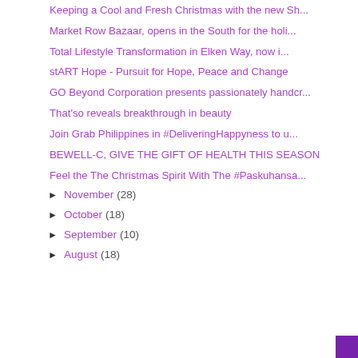Keeping a Cool and Fresh Christmas with the new Sh...
Market Row Bazaar, opens in the South for the holi...
Total Lifestyle Transformation in Elken Way, now i...
stART Hope - Pursuit for Hope, Peace and Change
GO Beyond Corporation presents passionately handcr...
That'so reveals breakthrough in beauty
Join Grab Philippines in #DeliveringHappyness to u...
BEWELL-C, GIVE THE GIFT OF HEALTH THIS SEASON
Feel the The Christmas Spirit With The #Paskuhansa...
► November (28)
► October (18)
► September (10)
► August (18)